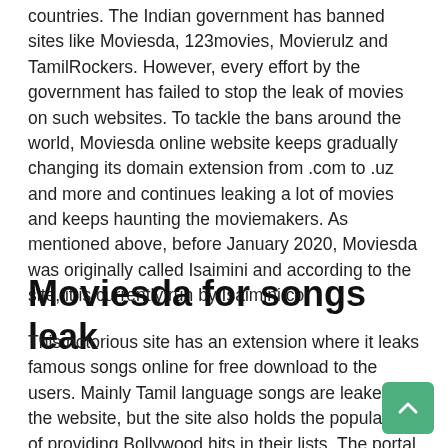countries. The Indian government has banned sites like Moviesda, 123movies, Movierulz and TamilRockers. However, every effort by the government has failed to stop the leak of movies on such websites. To tackle the bans around the world, Moviesda online website keeps gradually changing its domain extension from .com to .uz and more and continues leaking a lot of movies and keeps haunting the moviemakers. As mentioned above, before January 2020, Moviesda was originally called Isaimini and according to the site, it is currently run by Isaimini.co.
Moviesda for songs leak
This notorious site has an extension where it leaks famous songs online for free download to the users. Mainly Tamil language songs are leaked by the website, but the site also holds the popularity of providing Bollywood hits in their lists. The portal has provided the user with easy access to download such hit tracks on their website. The free Tamil songs are leaked on